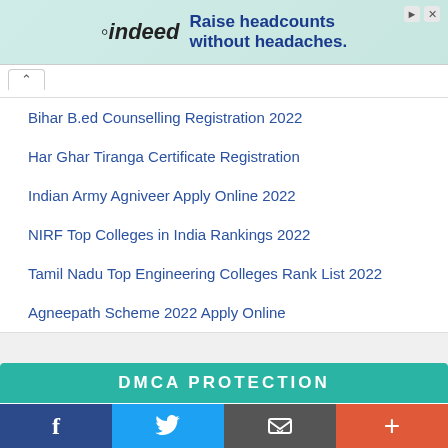[Figure (other): Indeed advertisement banner: 'Raise headcounts without headaches.']
Bihar B.ed Counselling Registration 2022
Har Ghar Tiranga Certificate Registration
Indian Army Agniveer Apply Online 2022
NIRF Top Colleges in India Rankings 2022
Tamil Nadu Top Engineering Colleges Rank List 2022
Agneepath Scheme 2022 Apply Online
[Figure (other): DMCA Protection banner in teal color]
f | Twitter bird icon | Share/email icon | +